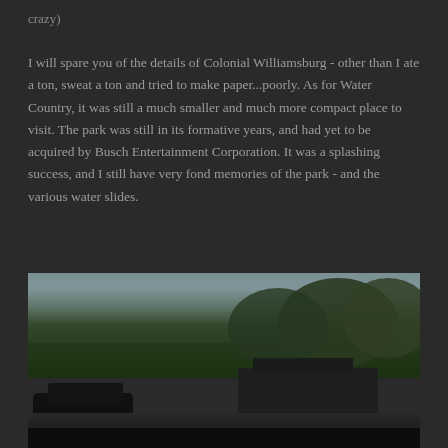crazy)
I will spare you of the details of Colonial Williamsburg - other than I ate a ton, sweat a ton and tried to make paper...poorly. As for Water Country, it was still a much smaller and much more compact place to visit. The park was still in its formative years, and had yet to be acquired by Busch Entertainment Corporation. It was a splashing success, and I still have very fond memories of the park - and the various water slides.
[Figure (photo): A photograph showing trees, a building structure in the background, and a dark vehicle in the foreground, taken outdoors under a grey sky.]